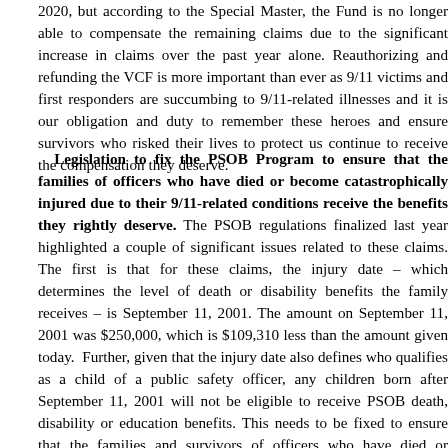2020, but according to the Special Master, the Fund is no longer able to compensate the remaining claims due to the significant increase in claims over the past year alone. Reauthorizing and refunding the VCF is more important than ever as 9/11 victims and first responders are succumbing to 9/11-related illnesses and it is our obligation and duty to remember these heroes and ensure survivors who risked their lives to protect us continue to receive the compensation they deserve.
Legislation to fix the PSOB Program to ensure that the families of officers who have died or become catastrophically injured due to their 9/11-related conditions receive the benefits they rightly deserve. The PSOB regulations finalized last year highlighted a couple of significant issues related to these claims. The first is that for these claims, the injury date – which determines the level of death or disability benefits the family receives – is September 11, 2001. The amount on September 11, 2001 was $250,000, which is $109,310 less than the amount given today. Further, given that the injury date also defines who qualifies as a child of a public safety officer, any children born after September 11, 2001 will not be eligible to receive PSOB death, disability or education benefits. This needs to be fixed to ensure that the families and survivors of officers who have died or become totally disabled from a 9/11-related health condition receive the benefits they deserve. NAPO worked closely with Senator Kirsten Gillibrand (D-NY) to fix these issues, which will be introduced during this session.